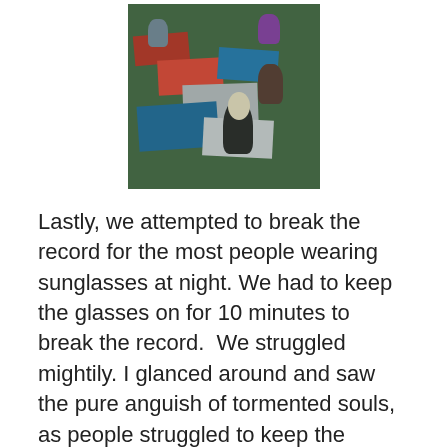[Figure (photo): Outdoor evening photo of people sitting on colorful blankets on grass, viewed from above/behind, at what appears to be an outdoor event.]
Lastly, we attempted to break the record for the most people wearing sunglasses at night. We had to keep the glasses on for 10 minutes to break the record.  We struggled mightily. I glanced around and saw the pure anguish of tormented souls, as people struggled to keep the sunglasses upon their faces. Through sheer power of our collective will…our amazing sacrifice was rewarded by etching our names among history's finest to have ever lived.  A record that by all measure will never be broken*, as almost all who have attempted to laugh in the face of